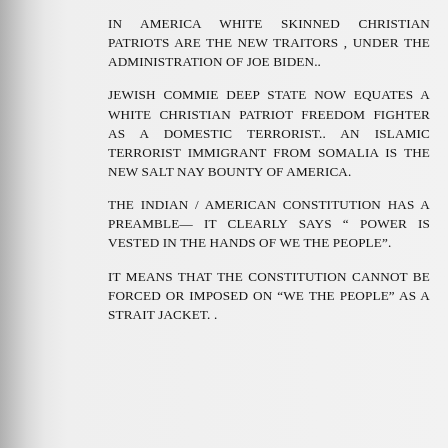IN AMERICA WHITE SKINNED CHRISTIAN PATRIOTS ARE THE NEW TRAITORS , UNDER THE ADMINISTRATION OF JOE BIDEN..
JEWISH COMMIE DEEP STATE NOW EQUATES A WHITE CHRISTIAN PATRIOT FREEDOM FIGHTER AS A DOMESTIC TERRORIST.. AN ISLAMIC TERRORIST IMMIGRANT FROM SOMALIA IS THE NEW SALT NAY BOUNTY OF AMERICA.
THE INDIAN / AMERICAN CONSTITUTION HAS A PREAMBLE— IT CLEARLY SAYS “ POWER IS VESTED IN THE HANDS OF WE THE PEOPLE”.
IT MEANS THAT THE CONSTITUTION CANNOT BE FORCED OR IMPOSED ON “WE THE PEOPLE” AS A STRAIT JACKET. .